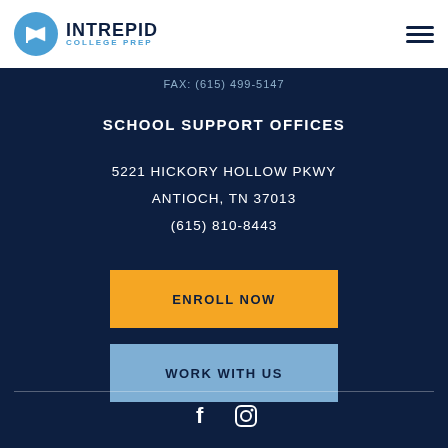[Figure (logo): Intrepid College Prep logo — blue circle with flag icon, INTREPID in bold dark text, COLLEGE PREP in blue below]
FAX: (615) 499-5147
SCHOOL SUPPORT OFFICES
5221 HICKORY HOLLOW PKWY
ANTIOCH, TN 37013
(615) 810-8443
ENROLL NOW
WORK WITH US
[Figure (illustration): Social media icons — Facebook and Instagram]